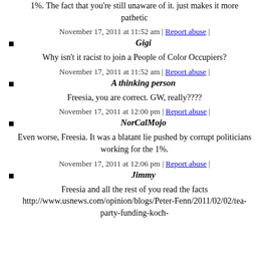1%. The fact that you're still unaware of it. just makes it more pathetic
November 17, 2011 at 11:52 am | Report abuse |
Gigi
Why isn't it racist to join a People of Color Occupiers?
November 17, 2011 at 11:52 am | Report abuse |
A thinking person
Freesia, you are correct. GW, really????
November 17, 2011 at 12:00 pm | Report abuse |
NorCalMojo
Even worse, Freesia. It was a blatant lie pushed by corrupt politicians working for the 1%.
November 17, 2011 at 12:06 pm | Report abuse |
Jimmy
Freesia and all the rest of you read the facts http://www.usnews.com/opinion/blogs/Peter-Fenn/2011/02/02/tea-party-funding-koch-